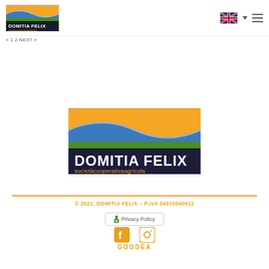[Figure (logo): Domitia Felix societàcooperativaagricola logo - small version in header]
« 1 2 NEXT »
[Figure (logo): Domitia Felix societàcooperativaagricola logo - large centered version]
© 2021, DOMITIA FELIX – P.IVA 04370040612
Privacy Policy
[Figure (other): Facebook and Instagram social media icons in orange]
GOODEA